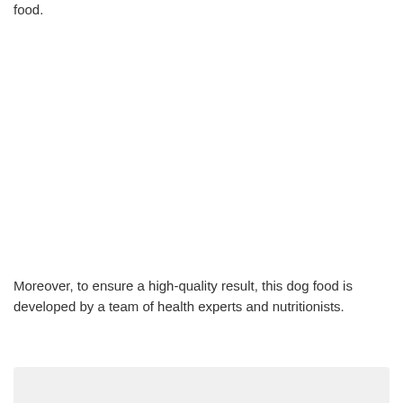food.
Moreover, to ensure a high-quality result, this dog food is developed by a team of health experts and nutritionists.